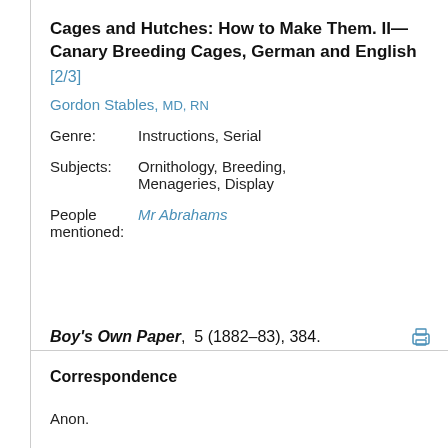Cages and Hutches: How to Make Them. II—Canary Breeding Cages, German and English [2/3]
Gordon Stables, MD, RN
Genre:      Instructions, Serial
Subjects:   Ornithology, Breeding, Menageries, Display
People mentioned:   Mr Abrahams
Boy's Own Paper,  5 (1882–83), 384.
Correspondence
Anon.